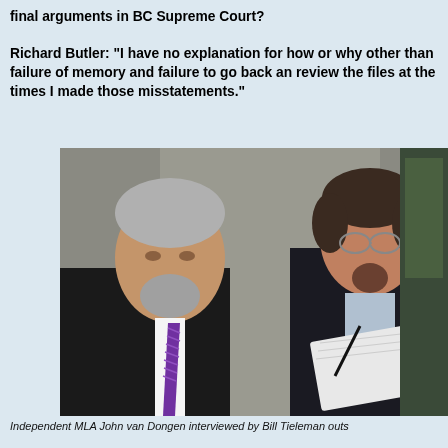final arguments in BC Supreme Court?

Richard Butler: "I have no explanation for how or why other than failure of memory and failure to go back and review the files at the times I made those misstatements."
[Figure (photo): Two men standing outside a concrete building. On the left, a man with grey hair wearing a black suit and purple striped tie. On the right, a man with glasses and a goatee wearing a dark coat, holding a notepad and pen as if conducting an interview.]
Independent MLA John van Dongen interviewed by Bill Tieleman outs